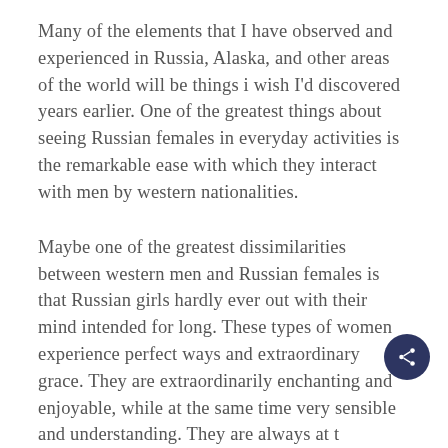Many of the elements that I have observed and experienced in Russia, Alaska, and other areas of the world will be things i wish I'd discovered years earlier. One of the greatest things about seeing Russian females in everyday activities is the remarkable ease with which they interact with men by western nationalities.
Maybe one of the greatest dissimilarities between western men and Russian females is that Russian girls hardly ever out with their mind intended for long. These types of women experience perfect ways and extraordinary grace. They are extraordinarily enchanting and enjoyable, while at the same time very sensible and understanding. They are always at t…